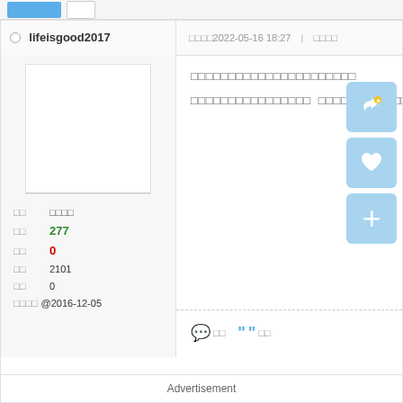lifeisgood2017
□□□□2022-05-16 18:27 | □□□□
[Figure (other): User avatar blank white box]
□□ □□□□
□□ 277
□□ 0
□□ 2101
□□ 0
□□□□ @2016-12-05
□□□□□□□□□□□□□□□□□□□□□□
□□□□□□□□□□□□□□□□ □□□□□□□□ □□□
[Figure (other): Like button - blue rounded square with thumbs up star icon]
[Figure (other): Favorite button - blue rounded square with heart icon]
[Figure (other): Add button - blue rounded square with plus icon]
💬 □□  ❝ □□
Advertisement